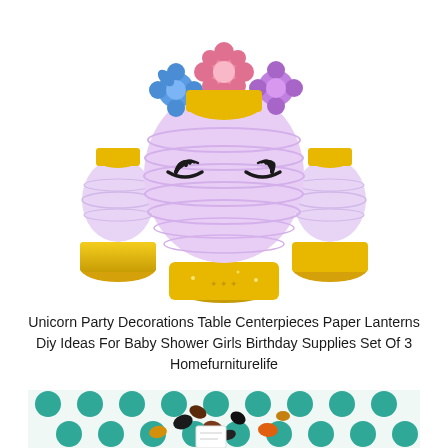[Figure (photo): Unicorn paper lantern table centerpiece with lavender round lantern body, black eyelash designs, colorful flowers (blue, pink, purple) on top, and gold glitter bases. Three lanterns visible arranged as unicorn face.]
Unicorn Party Decorations Table Centerpieces Paper Lanterns Diy Ideas For Baby Shower Girls Birthday Supplies Set Of 3 Homefurniturelife
[Figure (photo): Close-up of colorful candy or small stones (black, brown, yellow, green, orange) scattered on a white background with teal/green polka dot pattern. A small white tag or card is visible among the candies.]